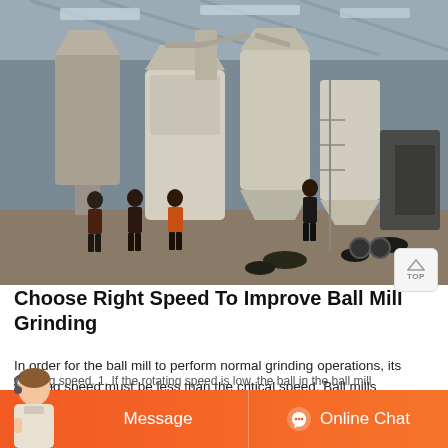[Figure (photo): Industrial ball mill grinding machinery installation inside a large warehouse/factory. Several workers stand in front of large white cylindrical grinding mill equipment with silos and dust collectors. Heavy industrial machinery visible throughout the facility.]
Choose Right Speed To Improve Ball Mill Grinding
In order for the ball mill to perform normal grinding operations, its working speed must be less than the critical speed. Ball mills
working speed. 1. If the rotating speed is low, the ball in the ball mill